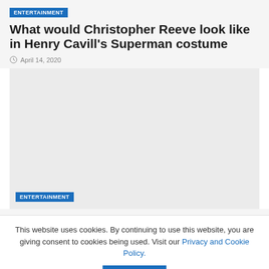ENTERTAINMENT
What would Christopher Reeve look like in Henry Cavill's Superman costume
April 14, 2020
[Figure (photo): Gray placeholder image area for article photo]
ENTERTAINMENT
This website uses cookies. By continuing to use this website, you are giving consent to cookies being used. Visit our Privacy and Cookie Policy.